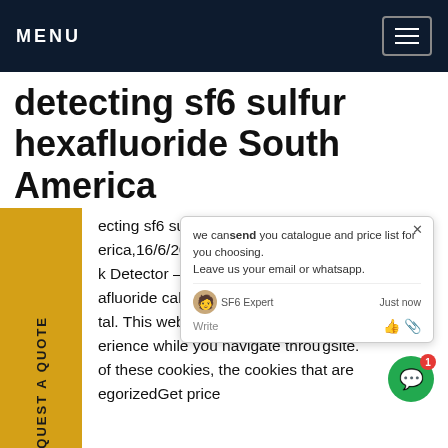MENU
detecting sf6 sulfur hexafluoride South America
ecting sf6 sulfur hexafluoride Sou...erica,16/6/2021Profesional SF6Ch...002 k Detector - Sulfur Hexafluoride ,... afluoride calibration services, re...nd tal. This website uses cookies i... r erience while you navigate throu...site. of these cookies, the cookies that are egorizedGet price
[Figure (screenshot): Chat popup overlay with text 'we can send you catalogue and price list for you choosing. Leave us your email or whatsapp.' with SF6 Expert agent listed as 'Just now', and green chat button with notification badge.]